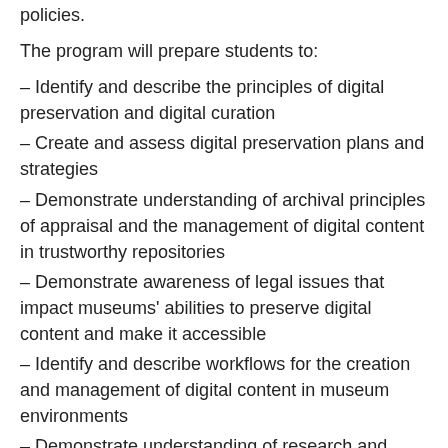policies.
The program will prepare students to:
– Identify and describe the principles of digital preservation and digital curation
– Create and assess digital preservation plans and strategies
– Demonstrate understanding of archival principles of appraisal and the management of digital content in trustworthy repositories
– Demonstrate awareness of legal issues that impact museums' abilities to preserve digital content and make it accessible
– Identify and describe workflows for the creation and management of digital content in museum environments
– Demonstrate understanding of research and